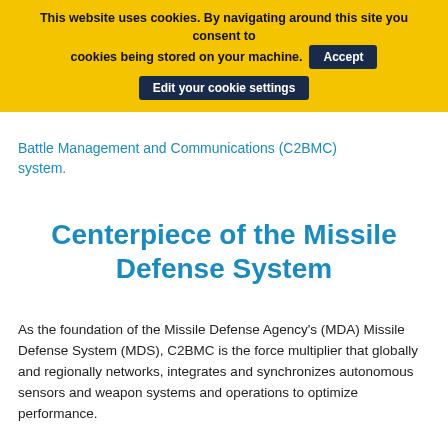This website uses cookies. By navigating around this site you consent to cookies being stored on your machine. Accept Edit your cookie settings
Battle Management and Communications (C2BMC) system.
Centerpiece of the Missile Defense System
As the foundation of the Missile Defense Agency's (MDA) Missile Defense System (MDS), C2BMC is the force multiplier that globally and regionally networks, integrates and synchronizes autonomous sensors and weapon systems and operations to optimize performance.